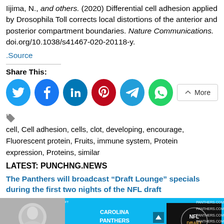Iijima, N., and others. (2020) Differential cell adhesion applied by Drosophila Toll corrects local distortions of the anterior and posterior compartment boundaries. Nature Communications. doi.org/10.1038/s41467-020-20118-y.
.Source
Share This:
[Figure (infographic): Row of social share buttons: Twitter (blue), Facebook (dark blue), LinkedIn (teal), Pinterest (red), Telegram (blue), WhatsApp (green), and a More button]
cell, Cell adhesion, cells, clot, developing, encourage, Fluorescent protein, Fruits, immune system, Protein expression, Proteins, similar
LATEST: PUNCHNG.NEWS
The Panthers will broadcast “Draft Lounge” specials during the first two nights of the NFL draft
[Figure (screenshot): Preview image of a Carolina Panthers NFL Draft 2021 broadcast, showing a woman on a blue background with Carolina Panthers branding and NFL Draft logo]